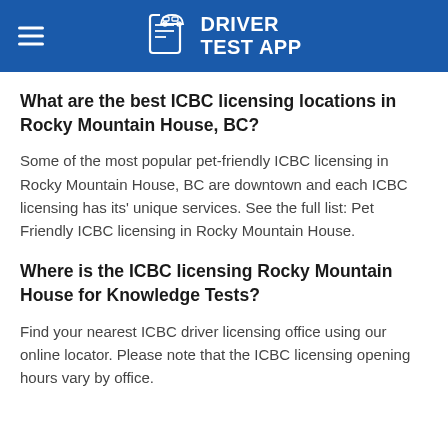DRIVER TEST APP
What are the best ICBC licensing locations in Rocky Mountain House, BC?
Some of the most popular pet-friendly ICBC licensing in Rocky Mountain House, BC are downtown and each ICBC licensing has its' unique services. See the full list: Pet Friendly ICBC licensing in Rocky Mountain House.
Where is the ICBC licensing Rocky Mountain House for Knowledge Tests?
Find your nearest ICBC driver licensing office using our online locator. Please note that the ICBC licensing opening hours vary by office.